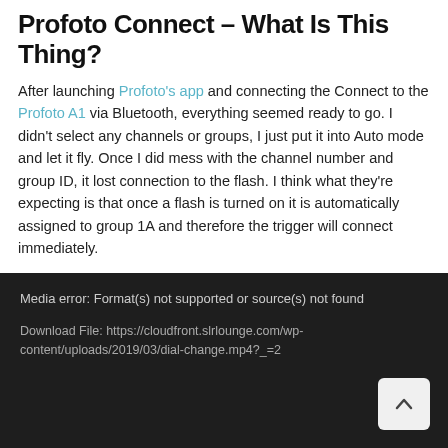Profoto Connect – What Is This Thing?
After launching Profoto's app and connecting the Connect to the Profoto A1 via Bluetooth, everything seemed ready to go. I didn't select any channels or groups, I just put it into Auto mode and let it fly. Once I did mess with the channel number and group ID, it lost connection to the flash. I think what they're expecting is that once a flash is turned on it is automatically assigned to group 1A and therefore the trigger will connect immediately.
[Figure (screenshot): Dark media player error box showing: 'Media error: Format(s) not supported or source(s) not found' and a download link to https://cloudfront.slrlounge.com/wp-content/uploads/2019/03/dial-change.mp4?_=2]